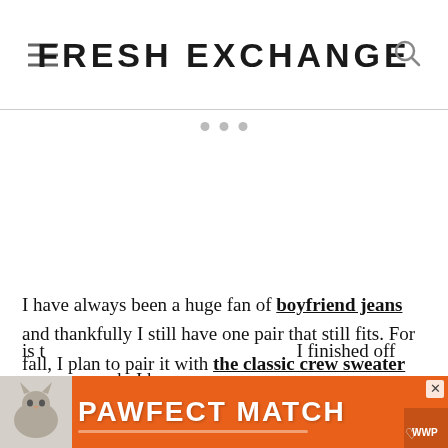FRESH EXCHANGE
[Figure (other): Slider dots / image carousel navigation (3 dots)]
I have always been a huge fan of boyfriend jeans and thankfully I still have one pair that still fits. For fall, I plan to pair it with the classic crew sweater from Lou & Grey in Olive. The side slit makes the sweater lay well over a bump or just fit perfectly loose over your favorite pair of jeans. It is t... I finished off ...k. I have
[Figure (screenshot): PAWFECT MATCH advertisement banner with cat photo on orange background]